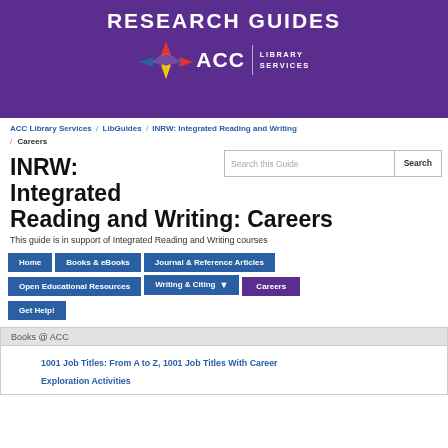RESEARCH GUIDES — ACC Library Services
ACC Library Services / LibGuides / INRW: Integrated Reading and Writing / Careers
INRW: Integrated Reading and Writing: Careers
This guide is in support of Integrated Reading and Writing courses
Home
Books & eBooks
Journal & Reference Articles
Open Educational Resources
Writing & Citing
Careers
Get Help!
Books @ ACC
1001 Job Titles: From A to Z, 1001 Job Titles With Career Exploration Activities